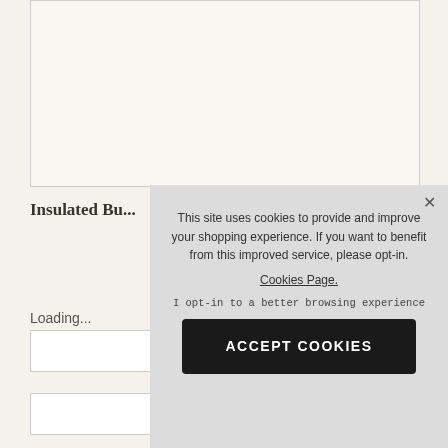[Figure (photo): Product image placeholder area — white/cream bordered rectangle]
Insulated Bu...
Loading...
This site uses cookies to provide and improve your shopping experience. If you want to benefit from this improved service, please opt-in. Cookies Page.
I opt-in to a better browsing experience
ACCEPT COOKIES
EMAIL A FRIEND